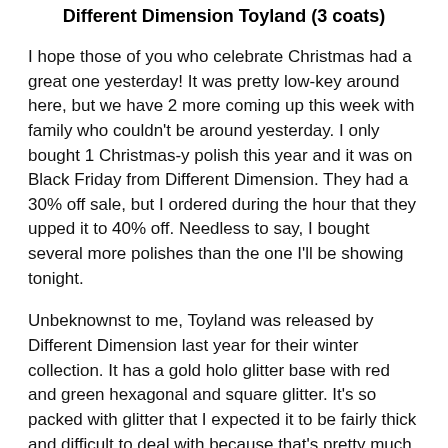Different Dimension Toyland (3 coats)
I hope those of you who celebrate Christmas had a great one yesterday! It was pretty low-key around here, but we have 2 more coming up this week with family who couldn't be around yesterday. I only bought 1 Christmas-y polish this year and it was on Black Friday from Different Dimension. They had a 30% off sale, but I ordered during the hour that they upped it to 40% off. Needless to say, I bought several more polishes than the one I'll be showing tonight.
Unbeknownst to me, Toyland was released by Different Dimension last year for their winter collection. It has a gold holo glitter base with red and green hexagonal and square glitter. It's so packed with glitter that I expected it to be fairly thick and difficult to deal with because that's pretty much the norm. I'm happy to report that it applied really well and was very glitter dense. I used 3 coats for the photos